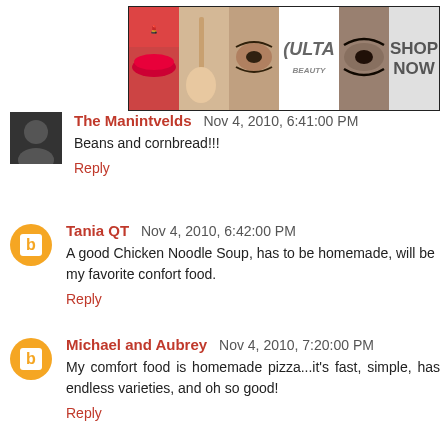[Figure (photo): Ulta beauty advertisement banner with makeup images and SHOP NOW text]
The Manintvelds  Nov 4, 2010, 6:41:00 PM
Beans and cornbread!!!
Reply
Tania QT  Nov 4, 2010, 6:42:00 PM
A good Chicken Noodle Soup, has to be homemade, will be my favorite confort food.
Reply
Michael and Aubrey  Nov 4, 2010, 7:20:00 PM
My comfort food is homemade pizza...it's fast, simple, has endless varieties, and oh so good!
Reply